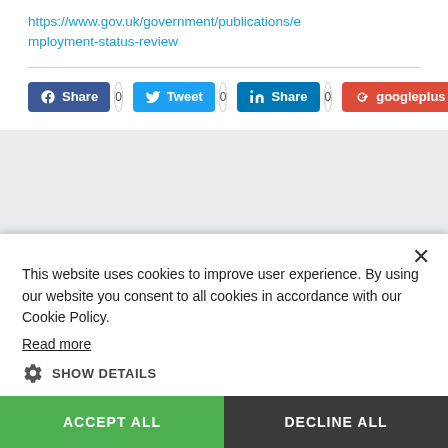https://www.gov.uk/government/publications/employment-status-review
[Figure (screenshot): Social sharing buttons row: Facebook Share (0), Twitter Tweet (0), LinkedIn Share (0), Google+ googleplus (0)]
This website uses cookies to improve user experience. By using our website you consent to all cookies in accordance with our Cookie Policy. Read more
SHOW DETAILS
ACCEPT ALL
DECLINE ALL